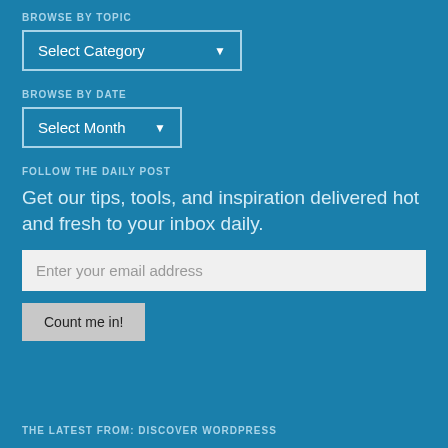BROWSE BY TOPIC
[Figure (screenshot): Dropdown UI element labeled Select Category with down arrow]
BROWSE BY DATE
[Figure (screenshot): Dropdown UI element labeled Select Month with down arrow]
FOLLOW THE DAILY POST
Get our tips, tools, and inspiration delivered hot and fresh to your inbox daily.
[Figure (screenshot): Email input field with placeholder text: Enter your email address]
[Figure (screenshot): Button labeled Count me in!]
THE LATEST FROM: DISCOVER WORDPRESS